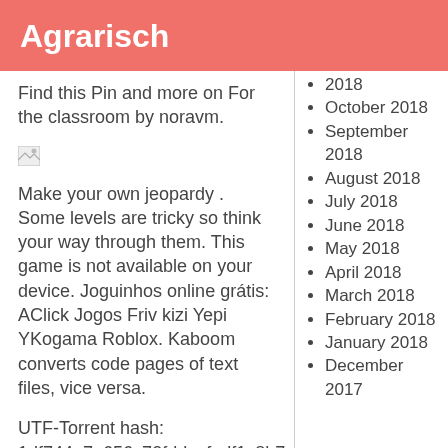Agrarisch
Find this Pin and more on For the classroom by noravm.
[Figure (other): Broken image placeholder icon]
Make your own jeopardy . Some levels are tricky so think your way through them. This game is not available on your device. Joguinhos online grátis: AClick Jogos Friv kizi Yepi YKogama Roblox. Kaboom converts code pages of text files, vice versa.
UTF-Torrent hash: 1df744a7e656c70fddcafedf1c8b7
2018
October 2018
September 2018
August 2018
July 2018
June 2018
May 2018
April 2018
March 2018
February 2018
January 2018
December 2017